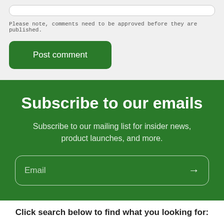Please note, comments need to be approved before they are published.
Post comment
Subscribe to our emails
Subscribe to our mailing list for insider news, product launches, and more.
Email
Click search below to find what you looking for: